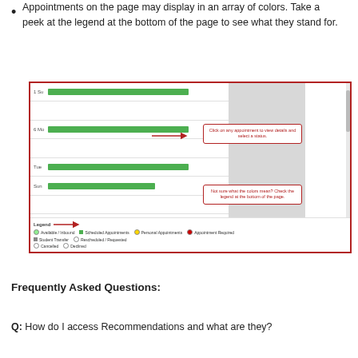Appointments on the page may display in an array of colors. Take a peek at the legend at the bottom of the page to see what they stand for.
[Figure (screenshot): Screenshot of a scheduling calendar interface showing green appointment bars for multiple days (Sun, Mon, Tue, Wed, Thu), a shaded gray column, a scrollbar, two red-bordered callout boxes with arrows: one pointing to an appointment bar reading 'Click on any appointment to view details and select a status.' and another pointing to the legend area reading 'Not sure what the colors mean? Check the legend at the bottom of the page.' The legend at the bottom shows icons for Available/Inbound, Student Transfer, Cancelled, Scheduled Appointments, Rescheduled/Requested, Declined, Personal Appointments, and Appointment Required.]
Frequently Asked Questions:
Q: How do I access Recommendations and what are they?